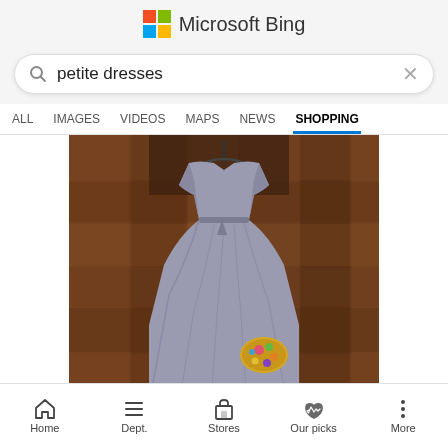[Figure (logo): Microsoft Bing logo with colorful Windows-style icon and text 'Microsoft Bing']
petite dresses
ALL   IMAGES   VIDEOS   MAPS   NEWS   SHOPPING
[Figure (photo): A gray/lavender sleeveless dress laid out on a wooden parquet floor, with a small colorful floral brooch/clutch accessory visible at the bottom right and a yellow shoe peeking at the bottom.]
Home   Dept.   Stores   Our picks   More